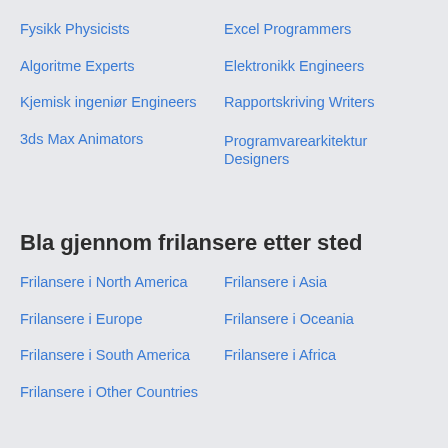Fysikk Physicists
Excel Programmers
Algoritme Experts
Elektronikk Engineers
Kjemisk ingeniør Engineers
Rapportskriving Writers
3ds Max Animators
Programvarearkitektur Designers
Bla gjennom frilansere etter sted
Frilansere i North America
Frilansere i Asia
Frilansere i Europe
Frilansere i Oceania
Frilansere i South America
Frilansere i Africa
Frilansere i Other Countries